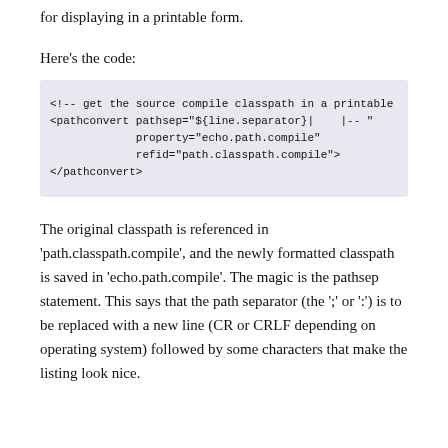for displaying in a printable form.
Here's the code:
<!-- get the source compile classpath in a printable
<pathconvert pathsep="${line.separator}|    |-- "
             property="echo.path.compile"
             refid="path.classpath.compile">
</pathconvert>
The original classpath is referenced in 'path.classpath.compile', and the newly formatted classpath is saved in 'echo.path.compile'. The magic is the pathsep statement. This says that the path separator (the ';' or ':') is to be replaced with a new line (CR or CRLF depending on operating system) followed by some characters that make the listing look nice.